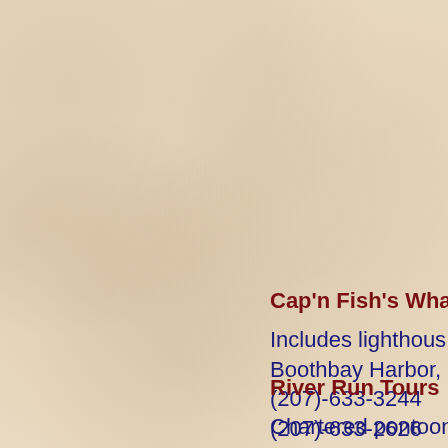Cap'n Fish's Whale
Includes lighthous
Boothbay Harbor,
(207)-633-3244
(207)-633-2626
Or toll free 1-800-6
River Run Tours
Chartered pontoon